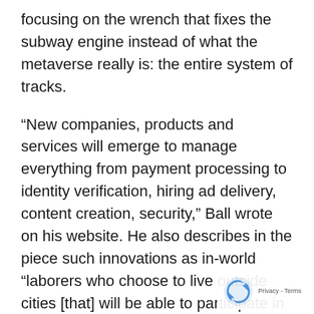focusing on the wrench that fixes the subway engine instead of what the metaverse really is: the entire system of tracks.
“New companies, products and services will emerge to manage everything from payment processing to identity verification, hiring ad delivery, content creation, security,” Ball wrote on his website. He also describes in the piece such innovations as in-world “laborers who choose to live outside cities [that] will be able to participate in the ‘high value’ economy via virtual labor.”
One of the biggest opportunities could come with education. Anyone who has tried to ensure a 10-year-old learns at home without distraction the past 20 months longs for a new model. The metaverse’s immersion would provide a teacher more tools a...